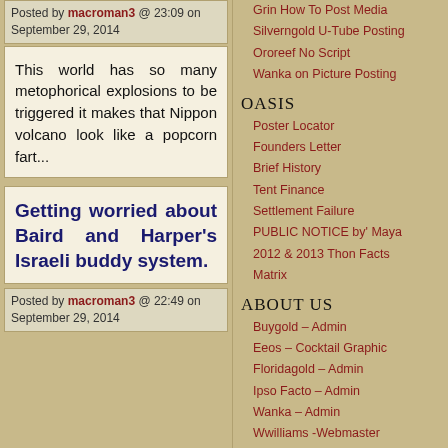Posted by macroman3 @ 23:09 on September 29, 2014
This world has so many metophorical explosions to be triggered it makes that Nippon volcano look like a popcorn fart...
Getting worried about Baird and Harper's Israeli buddy system.
Posted by macroman3 @ 22:49 on September 29, 2014
Grin How To Post Media
Silverngold U-Tube Posting
Ororeef No Script
Wanka on Picture Posting
OASIS
Poster Locator
Founders Letter
Brief History
Tent Finance
Settlement Failure
PUBLIC NOTICE by' Maya
2012 & 2013 Thon Facts
Matrix
ABOUT US
Buygold – Admin
Eeos – Cocktail Graphic
Floridagold – Admin
Ipso Facto – Admin
Wanka – Admin
Wwilliams -Webmaster
TENT-A-THONS
Oasis Completion
Heartwarming Turnout
T-A-T 2014
T-A-T 2015
CONSTITUTION
Scruffy 53-46 Senate Vote